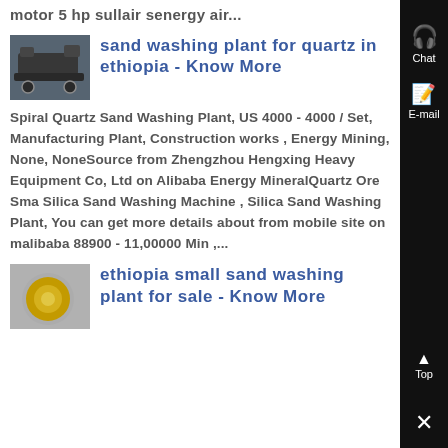motor 5 hp sullair senergy air...
[Figure (photo): Thumbnail image of a sand washing plant machine, dark industrial equipment]
sand washing plant for quartz in ethiopia - Know More
Spiral Quartz Sand Washing Plant, US 4000 - 4000 / Set, Manufacturing Plant, Construction works , Energy Mining, None, NoneSource from Zhengzhou Hengxing Heavy Equipment Co, Ltd on Alibaba Energy MineralQuartz Ore Sma Silica Sand Washing Machine , Silica Sand Washing Plant, You can get more details about from mobile site on malibaba 88900 - 11,00000 Min ,...
[Figure (photo): Thumbnail image with yellow circular element, small sand washing plant equipment]